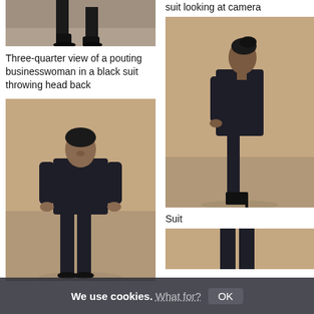[Figure (photo): Cropped photo showing legs and boots of a person in a black suit on a concrete floor background]
Three-quarter view of a pouting businesswoman in a black suit throwing head back
[Figure (photo): Full body photo of a pouting businesswoman in a black suit, standing facing camera, with beige background]
suit looking at camera
[Figure (photo): Side profile photo of a woman in an oversized black suit and high-heeled boots, looking up, beige background]
Suit
[Figure (photo): Partial photo of a person in black clothing, beige background, cropped at bottom of page]
We use cookies. What for? OK